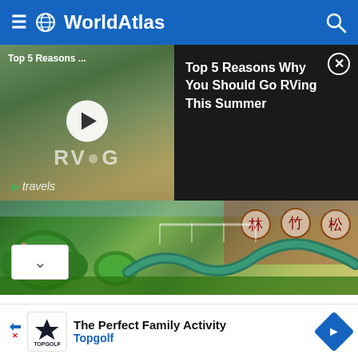WorldAtlas
[Figure (screenshot): Video thumbnail showing RVing travel content with play button, overlaid with text panel showing 'Top 5 Reasons Why You Should Go RVing This Summer' on dark background]
[Figure (photo): Outdoor Taoist garden with topiary bushes, a large green snake sculpture, brick wall with Chinese character medallions]
Taoism
[Figure (photo): American flag against blue sky]
The Perfect Family Activity Topgolf